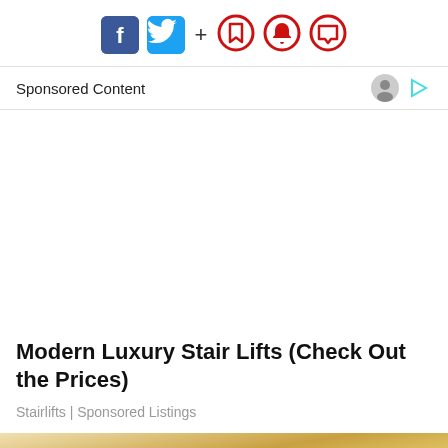Social share icons: Facebook, Twitter, +, bookmark, bell, comment
Sponsored Content
Modern Luxury Stair Lifts (Check Out the Prices)
Stairlifts | Sponsored Listings
[Figure (photo): Bottom of page image showing a golden liquid on a spoon or similar surface]